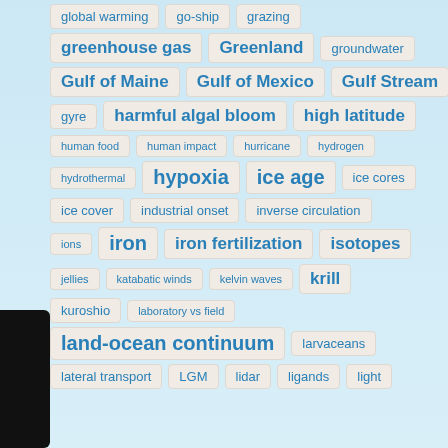global warming  go-ship  grazing
greenhouse gas  Greenland  groundwater
Gulf of Maine  Gulf of Mexico  Gulf Stream
gyre  harmful algal bloom  high latitude
human food  human impact  hurricane  hydrogen
hydrothermal  hypoxia  ice age  ice cores
ice cover  industrial onset  inverse circulation
ions  iron  iron fertilization  isotopes
jellies  katabatic winds  kelvin waves  krill
kuroshio  laboratory vs field
land-ocean continuum  larvaceans
lateral transport  LGM  lidar  ligands  light